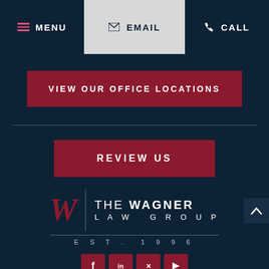MENU | EMAIL | CALL
VIEW OUR OFFICE LOCATIONS
REVIEW US
[Figure (logo): The Wagner Law Group logo with stylized W and EST. 1996]
[Figure (infographic): Social media icons: Facebook, LinkedIn, Twitter, YouTube]